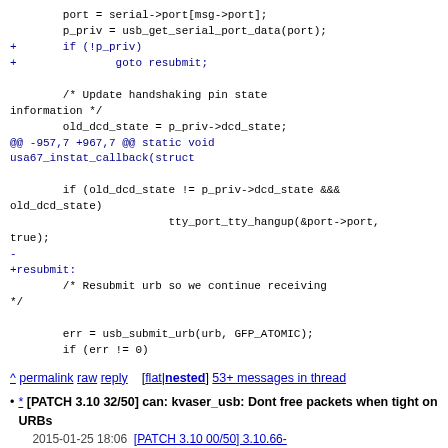port = serial->port[msg->port];
        p_priv = usb_get_serial_port_data(port);
+       if (!p_priv)
+               goto resubmit;

        /* Update handshaking pin state information */
        old_dcd_state = p_priv->dcd_state;
@@ -957,7 +967,7 @@ static void usa67_instat_callback(struct

        if (old_dcd_state != p_priv->dcd_state && old_dcd_state)
                        tty_port_tty_hangup(&port->port, true);
-
+resubmit:
        /* Resubmit urb so we continue receiving */

        err = usb_submit_urb(urb, GFP_ATOMIC);
        if (err != 0)
^ permalink raw reply  [flat|nested] 53+ messages in thread
* [PATCH 3.10 32/50] can: kvaser_usb: Dont free packets when tight on URBs
2015-01-25 18:06  [PATCH 3.10 00/50] 3.10.66-